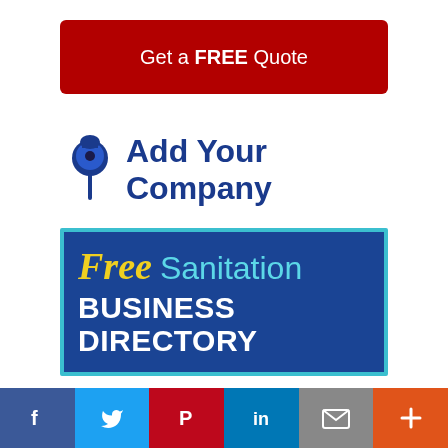Get a FREE Quote
[Figure (logo): Add Your Company with pushpin icon in dark blue]
[Figure (logo): Free Sanitation Business Directory logo on dark blue background with teal border]
[Figure (logo): Trustpilot logo with green star]
[Figure (infographic): Social sharing bar with Facebook, Twitter, Pinterest, LinkedIn, Email, and More buttons]